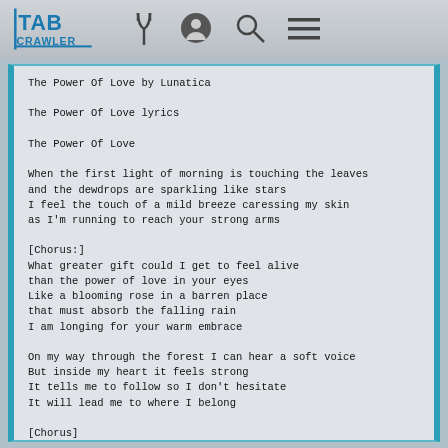TAB CRAWLER — navigation header with logo and icons
The Power Of Love by Lunatica
The Power Of Love lyrics

The Power Of Love

When the first light of morning is touching the leaves
and the dewdrops are sparkling like stars
I feel the touch of a mild breeze caressing my skin
as I'm running to reach your strong arms

[Chorus:]
What greater gift could I get to feel alive
than the power of love in your eyes
Like a blooming rose in a barren place
that must absorb the falling rain
I am longing for your warm embrace

On my way through the forest I can hear a soft voice
But inside my heart it feels strong
It tells me to follow so I don't hesitate
It will lead me to where I belong

[Chorus]